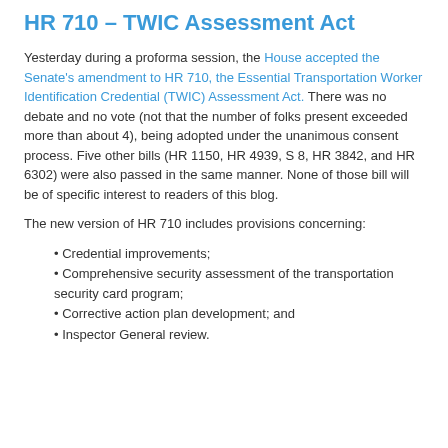HR 710 – TWIC Assessment Act
Yesterday during a proforma session, the House accepted the Senate's amendment to HR 710, the Essential Transportation Worker Identification Credential (TWIC) Assessment Act. There was no debate and no vote (not that the number of folks present exceeded more than about 4), being adopted under the unanimous consent process. Five other bills (HR 1150, HR 4939, S 8, HR 3842, and HR 6302) were also passed in the same manner. None of those bill will be of specific interest to readers of this blog.
The new version of HR 710 includes provisions concerning:
Credential improvements;
Comprehensive security assessment of the transportation security card program;
Corrective action plan development; and
Inspector General review.